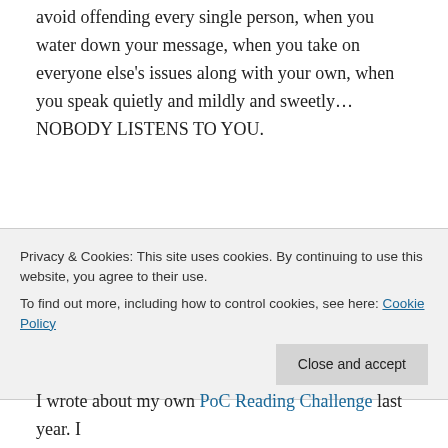avoid offending every single person, when you water down your message, when you take on everyone else's issues along with your own, when you speak quietly and mildly and sweetly…NOBODY LISTENS TO YOU.
Believe me, I know. People might say they respect you, but they certainly don't act like they respect you. They probably won't listen, and if they do, they're less likely to
Privacy & Cookies: This site uses cookies. By continuing to use this website, you agree to their use.
To find out more, including how to control cookies, see here: Cookie Policy
I wrote about my own PoC Reading Challenge last year. I